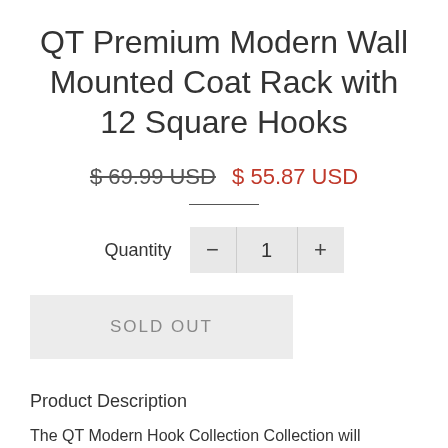QT Premium Modern Wall Mounted Coat Rack with 12 Square Hooks
$ 69.99 USD  $ 55.87 USD
Quantity  -  1  +
SOLD OUT
Product Description
The QT Modern Hook Collection Collection will